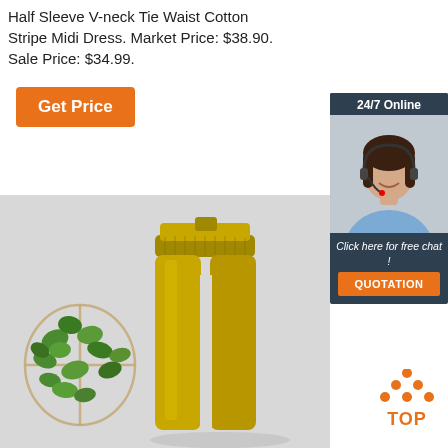Half Sleeve V-neck Tie Waist Cotton Stripe Midi Dress. Market Price: $38.90. Sale Price: $34.99.
Get Price
[Figure (photo): Customer service representative with headset, 24/7 Online chat widget with orange QUOTATION button]
[Figure (photo): Back view of model wearing mustard yellow high-waist belted trousers with plant decor in background]
[Figure (illustration): Orange TOP arrow icon to scroll to top of page]